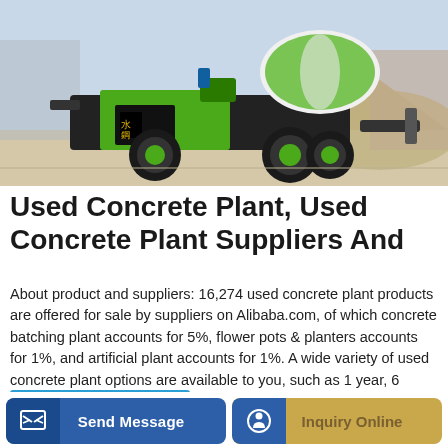[Figure (photo): A green and black self-loading concrete mixer truck parked on a concrete surface with gravel piles in the background. Chinese characters visible on the side of the machine.]
Used Concrete Plant, Used Concrete Plant Suppliers And
About product and suppliers: 16,274 used concrete plant products are offered for sale by suppliers on Alibaba.com, of which concrete batching plant accounts for 5%, flower pots & planters accounts for 1%, and artificial plant accounts for 1%. A wide variety of used concrete plant options are available to you, such as 1 year, 6 months, and 2 years.